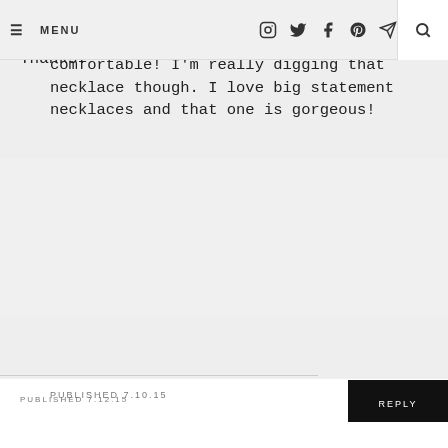≡ MENU  [icons: instagram, twitter, facebook, pinterest, send]  [search]
The perfect shirt dress. Love the way you've styled it up :))
PUBLISHED 7.10.15
REPLY
KATIE WROTE:
Thanks!
PUBLISHED 7.12.15
REPLY
ASHLEY L WROTE:
That's so cute and looks super comfortable! I'm really digging that necklace though. I love big statement necklaces and that one is gorgeous!